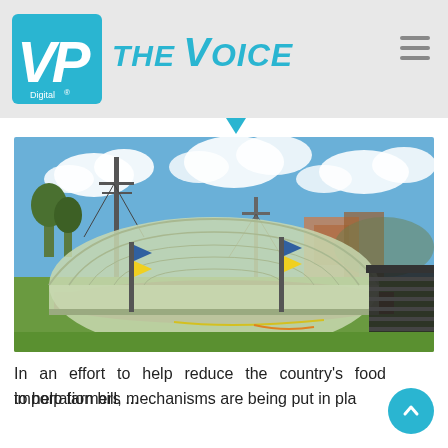VP Digital - THE VOICE
[Figure (photo): A large dome-shaped greenhouse tunnel covered with translucent plastic sheeting, situated on a grass field. Blue sky with clouds in background, utility poles visible, banner flags near the greenhouse, and a dark storage unit to the right.]
In an effort to help reduce the country's food importation bill, mechanisms are being put in place to help farmers ...